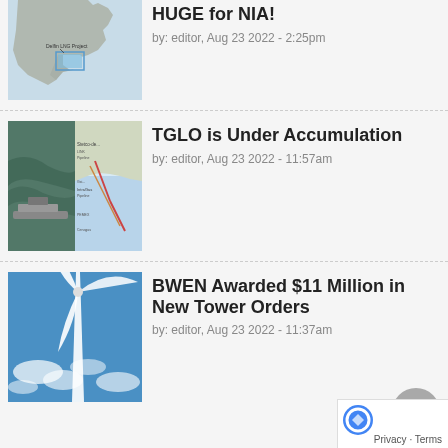[Figure (map): Map showing Delfin LNG Project location off North America coast]
HUGE for NIA!
by: editor, Aug 23 2022 - 2:25pm
[Figure (photo): Two thumbnails: aerial ocean photo and pipeline route map]
TGLO is Under Accumulation
by: editor, Aug 23 2022 - 11:57am
[Figure (photo): Wind turbine close-up photo against blue sky]
BWEN Awarded $11 Million in New Tower Orders
by: editor, Aug 23 2022 - 11:37am